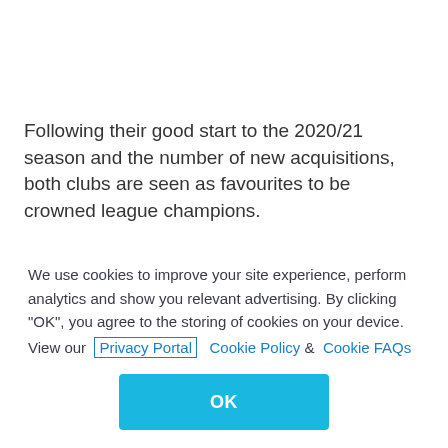Following their good start to the 2020/21 season and the number of new acquisitions, both clubs are seen as favourites to be crowned league champions.
READ: Dukuduku warns Bucs: Don't celebrate yet
'Mahoota' who used to score goals for both teams in
We use cookies to improve your site experience, perform analytics and show you relevant advertising. By clicking "OK", you agree to the storing of cookies on your device. View our Privacy Portal Cookie Policy & Cookie FAQs
OK